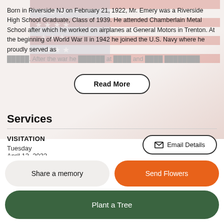Born in Riverside NJ on February 21, 1922, Mr. Emery was a Riverside High School Graduate, Class of 1939. He attended Chamberlain Metal School after which he worked on airplanes at General Motors in Trenton. At the beginning of World War II in 1942 he joined the U.S. Navy where he proudly served as [faded text continues]
Read More
Services
VISITATION
Tuesday
April 12, 2022
Email Details
Share a memory
Send Flowers
Plant a Tree